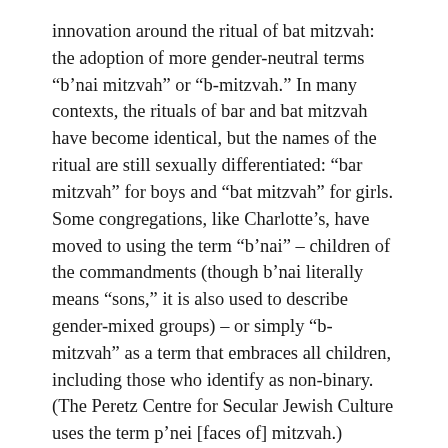innovation around the ritual of bat mitzvah: the adoption of more gender-neutral terms “b’nai mitzvah” or “b-mitzvah.” In many contexts, the rituals of bar and bat mitzvah have become identical, but the names of the ritual are still sexually differentiated: “bar mitzvah” for boys and “bat mitzvah” for girls. Some congregations, like Charlotte’s, have moved to using the term “b’nai” – children of the commandments (though b’nai literally means “sons,” it is also used to describe gender-mixed groups) – or simply “b-mitzvah” as a term that embraces all children, including those who identify as non-binary. (The Peretz Centre for Secular Jewish Culture uses the term p’nei [faces of] mitzvah.)
So, when North American Jews celebrate the 100th anniversary of bat mitzvah, they not only celebrate a momentous occasion in the life of one young girl,